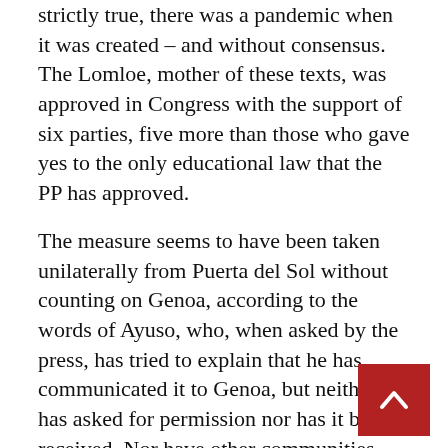strictly true, there was a pandemic when it was created – and without consensus. The Lomloe, mother of these texts, was approved in Congress with the support of six parties, five more than those who gave yes to the only educational law that the PP has approved.
The measure seems to have been taken unilaterally from Puerta del Sol without counting on Genoa, according to the words of Ayuso, who, when asked by the press, has tried to explain that he has communicated it to Genoa, but neither has asked for permission nor has it been received. Nor have other communities governed by the PP announced that they are going to join this Madrid initiative.
The announced resource does not alter the pl of the Madrid government regarding the prio